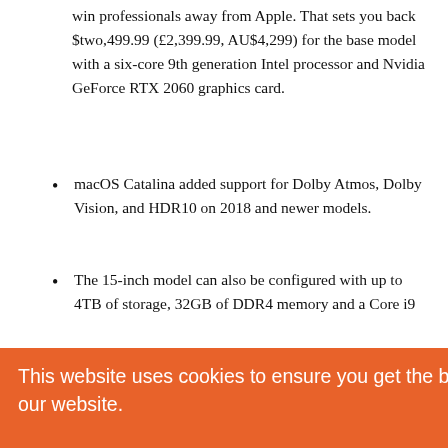win professionals away from Apple. That sets you back $two,499.99 (£2,399.99, AU$4,299) for the base model with a six-core 9th generation Intel processor and Nvidia GeForce RTX 2060 graphics card.
macOS Catalina added support for Dolby Atmos, Dolby Vision, and HDR10 on 2018 and newer models.
The 15-inch model can also be configured with up to 4TB of storage, 32GB of DDR4 memory and a Core i9
[Figure (screenshot): Cookie consent overlay banner with orange background reading 'This website uses cookies to ensure you get the best experience on our website.' with a 'Learn more' link and a yellow 'Got it!' button. Partially visible text on the right side shows 'nics.' and 'nual'.]
On May perhaps 21, 2019 Apple announced updated